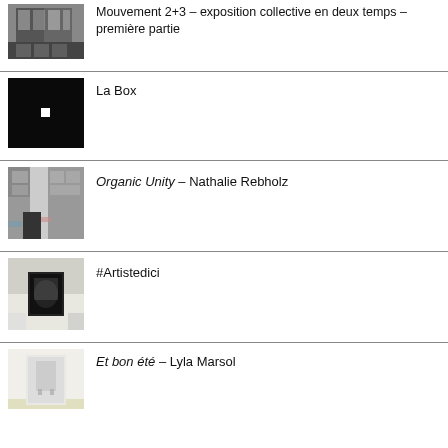[Figure (photo): Industrial interior with glass and pillars, black and white]
Mouvement 2+3 – exposition collective en deux temps – première partie
[Figure (photo): Dark image with a small white square of light in center]
La Box
[Figure (photo): Building exterior with large windows and doorway, black and white]
Organic Unity – Nathalie Rebholz
[Figure (photo): Outdoor stone wall with rectangular cutout and shadow, black and white]
#Artistedici
[Figure (photo): White room interior with a door, light tones]
Et bon été – Lyla Marsol